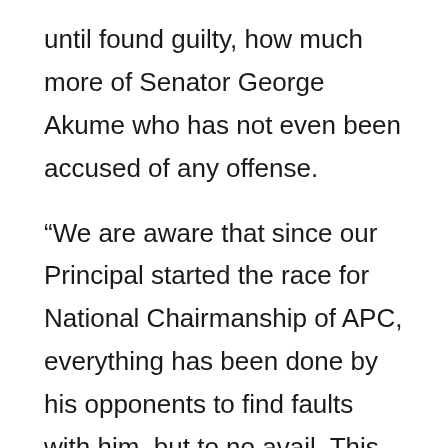until found guilty, how much more of Senator George Akume who has not even been accused of any offense.
“We are aware that since our Principal started the race for National Chairmanship of APC, everything has been done by his opponents to find faults with him, but to no avail. This is because it has become very clear that Senator George Akume is the candidate to beat in the race for the National Chairmanship of our great party, APC.